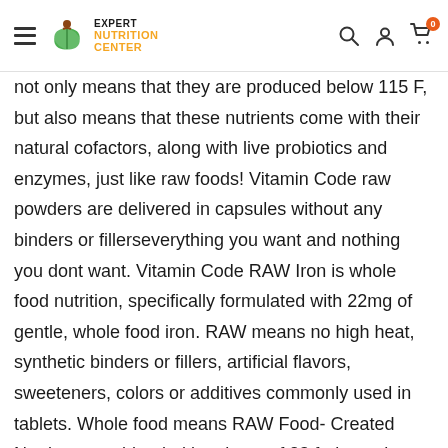Expert Nutrition Center — navigation header with hamburger menu, logo, search, account, and cart icons
not only means that they are produced below 115 F, but also means that these nutrients come with their natural cofactors, along with live probiotics and enzymes, just like raw foods! Vitamin Code raw powders are delivered in capsules without any binders or fillerseverything you want and nothing you dont want. Vitamin Code RAW Iron is whole food nutrition, specifically formulated with 22mg of gentle, whole food iron. RAW means no high heat, synthetic binders or fillers, artificial flavors, sweeteners, colors or additives commonly used in tablets. Whole food means RAW Food- Created Nutrients are blended in a base of 23 fruits and vegetables together with food cofactors. Vitamin Code RAW Iron Benefits: Contains 22mg of gentle whole food iron and whole food vitamins C, B12 and folate to support iron absorption and utilization* Supports blood,